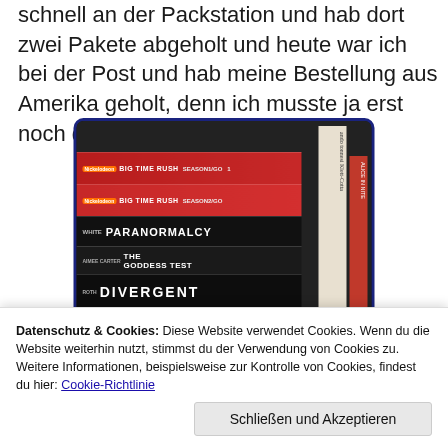schnell an der Packstation und hab dort zwei Pakete abgeholt und heute war ich bei der Post und hab meine Bestellung aus Amerika geholt, denn ich musste ja erst noch die Zollgebühr bezahlen.
[Figure (photo): A stack of books and DVDs including Big Time Rush Season 1 (two copies), Paranormalcy by White, The Goddess Test by Aimee Carter, Divergent by Roth, and Bliss by Miracle. Two book spines are visible on the right side.]
Datenschutz & Cookies: Diese Website verwendet Cookies. Wenn du die Website weiterhin nutzt, stimmst du der Verwendung von Cookies zu. Weitere Informationen, beispielsweise zur Kontrolle von Cookies, findest du hier: Cookie-Richtlinie
Schließen und Akzeptieren